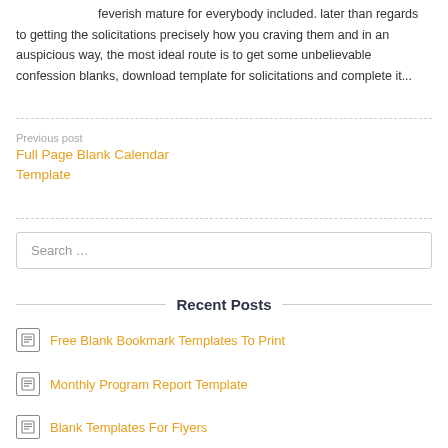feverish mature for everybody included. later than regards to getting the solicitations precisely how you craving them and in an auspicious way, the most ideal route is to get some unbelievable confession blanks, download template for solicitations and complete it...
Previous post
Full Page Blank Calendar Template
Search …
Recent Posts
Free Blank Bookmark Templates To Print
Monthly Program Report Template
Blank Templates For Flyers